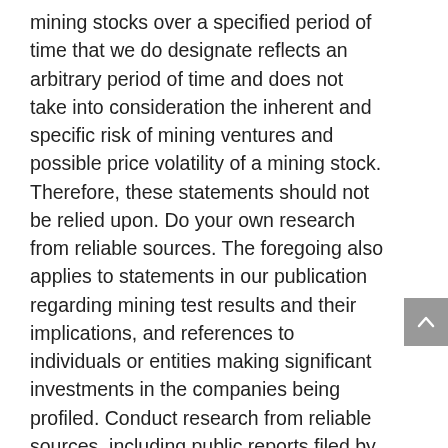mining stocks over a specified period of time that we do designate reflects an arbitrary period of time and does not take into consideration the inherent and specific risk of mining ventures and possible price volatility of a mining stock. Therefore, these statements should not be relied upon. Do your own research from reliable sources. The foregoing also applies to statements in our publication regarding mining test results and their implications, and references to individuals or entities making significant investments in the companies being profiled. Conduct research from reliable sources, including public reports filed by the mining company with regulatory authorities.